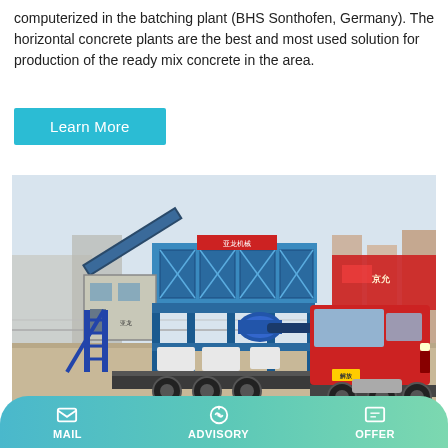computerized in the batching plant (BHS Sonthofen, Germany). The horizontal concrete plants are the best and most used solution for production of the ready mix concrete in the area.
Learn More
[Figure (photo): A mobile horizontal concrete batching plant mounted on a flatbed trailer, towed by a red heavy-duty truck, photographed in an industrial yard with buildings and fencing in the background.]
MAIL   ADVISORY   OFFER